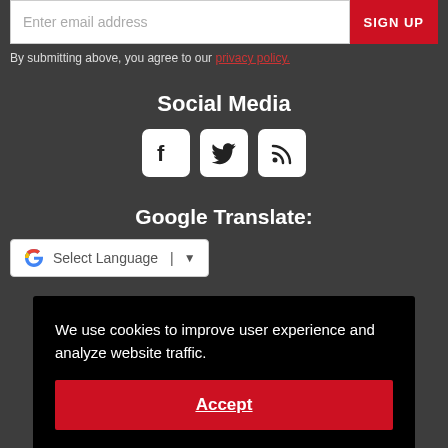Enter email address
SIGN UP
By submitting above, you agree to our privacy policy.
Social Media
[Figure (illustration): Social media icons: Facebook, Twitter, RSS feed]
Google Translate:
[Figure (screenshot): Google Translate widget with G logo and Select Language dropdown]
We use cookies to improve user experience and analyze website traffic.
Accept